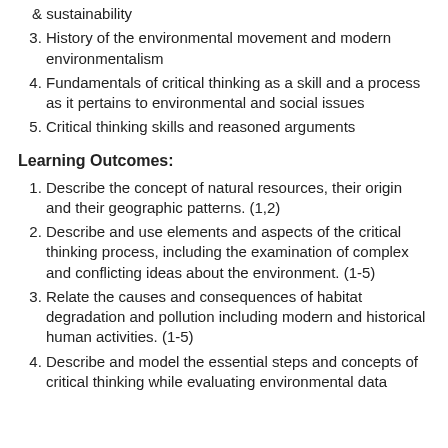& sustainability
History of the environmental movement and modern environmentalism
Fundamentals of critical thinking as a skill and a process as it pertains to environmental and social issues
Critical thinking skills and reasoned arguments
Learning Outcomes:
Describe the concept of natural resources, their origin and their geographic patterns. (1,2)
Describe and use elements and aspects of the critical thinking process, including the examination of complex and conflicting ideas about the environment. (1-5)
Relate the causes and consequences of habitat degradation and pollution including modern and historical human activities. (1-5)
Describe and model the essential steps and concepts of critical thinking while evaluating environmental data